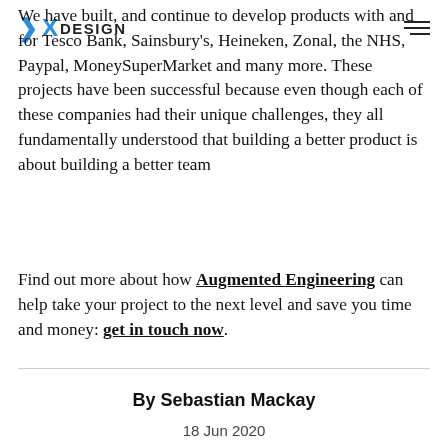XDESIGN [logo with hamburger menu]
We have built, and continue to develop products with and for Tesco Bank, Sainsbury's, Heineken, Zonal, the NHS, Paypal, MoneySuperMarket and many more. These projects have been successful because even though each of these companies had their unique challenges, they all fundamentally understood that building a better product is about building a better team
Find out more about how Augmented Engineering can help take your project to the next level and save you time and money: get in touch now.
By Sebastian Mackay
18 Jun 2020